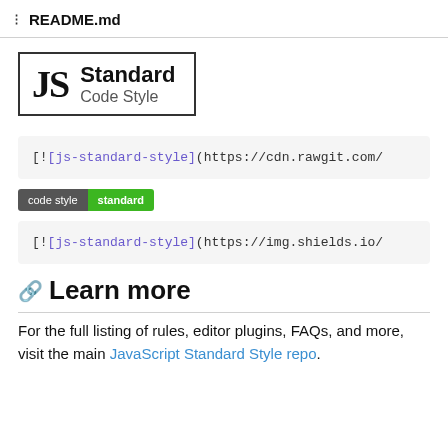README.md
[Figure (logo): JS Standard Code Style logo — large JS letters in bold serif beside 'Standard Code Style' text, enclosed in a rectangle border]
[![js-standard-style](https://cdn.rawgit.com/
[Figure (other): Badge showing 'code style standard' with dark grey left half and green right half]
[![js-standard-style](https://img.shields.io/
Learn more
For the full listing of rules, editor plugins, FAQs, and more, visit the main JavaScript Standard Style repo.